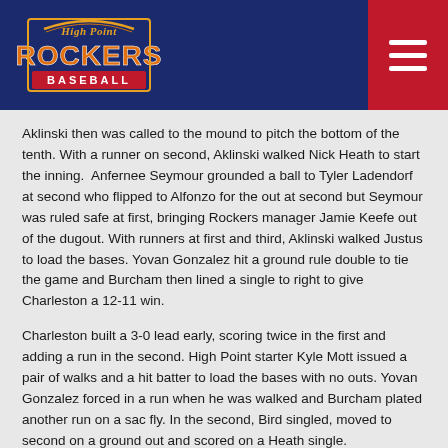[Figure (logo): High Point Rockers Baseball logo with orange and yellow stylized text on dark blue header background]
Aklinski then was called to the mound to pitch the bottom of the tenth. With a runner on second, Aklinski walked Nick Heath to start the inning.  Anfernee Seymour grounded a ball to Tyler Ladendorf at second who flipped to Alfonzo for the out at second but Seymour was ruled safe at first, bringing Rockers manager Jamie Keefe out of the dugout. With runners at first and third, Aklinski walked Justus to load the bases. Yovan Gonzalez hit a ground rule double to tie the game and Burcham then lined a single to right to give Charleston a 12-11 win.
Charleston built a 3-0 lead early, scoring twice in the first and adding a run in the second. High Point starter Kyle Mott issued a pair of walks and a hit batter to load the bases with no outs. Yovan Gonzalez forced in a run when he was walked and Burcham plated another run on a sac fly. In the second, Bird singled, moved to second on a ground out and scored on a Heath single.